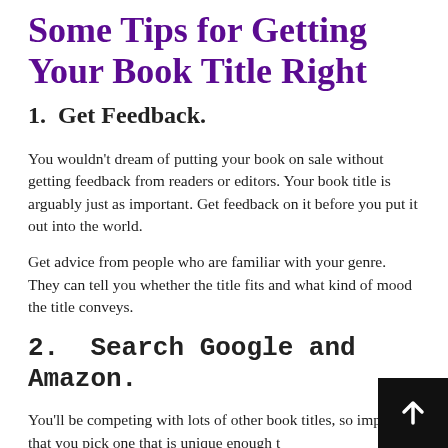Some Tips for Getting Your Book Title Right
1.  Get Feedback.
You wouldn't dream of putting your book on sale without getting feedback from readers or editors. Your book title is arguably just as important. Get feedback on it before you put it out into the world.
Get advice from people who are familiar with your genre. They can tell you whether the title fits and what kind of mood the title conveys.
2.  Search Google and Amazon.
You'll be competing with lots of other book titles, so important that you pick one that is unique enough t…